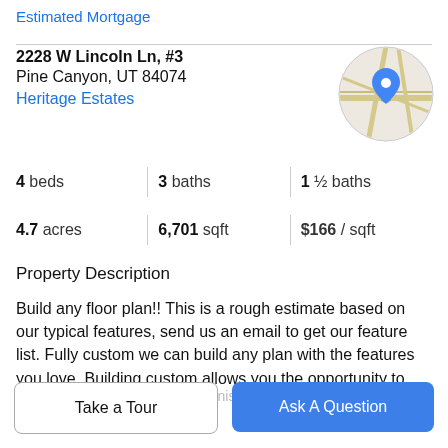Estimated Mortgage
2228 W Lincoln Ln, #3
Pine Canyon, UT 84074
Heritage Estates
[Figure (map): Circular map thumbnail with a blue location pin marker on a street map background]
4 beds | 3 baths | 1 ½ baths
4.7 acres | 6,701 sqft | $166 / sqft
Property Description
Build any floor plan!! This is a rough estimate based on our typical features, send us an email to get our feature list. Fully custom we can build any plan with the features you love. Building custom allows you the opportunity to prioritize your budget with your finishes. This month
Take a Tour
Ask A Question